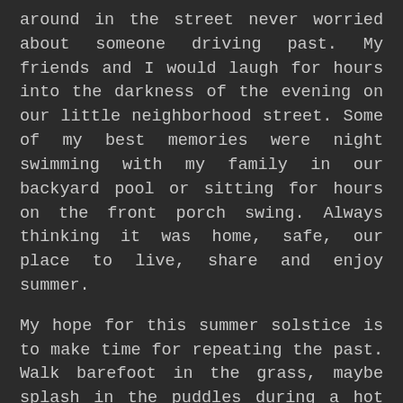around in the street never worried about someone driving past. My friends and I would laugh for hours into the darkness of the evening on our little neighborhood street. Some of my best memories were night swimming with my family in our backyard pool or sitting for hours on the front porch swing. Always thinking it was home, safe, our place to live, share and enjoy summer.
My hope for this summer solstice is to make time for repeating the past. Walk barefoot in the grass, maybe splash in the puddles during a hot summer rain. Lay outside and watch the bright afternoon sun, feel the heat, wonder about life, God and dream. Sit outside with my friends and family on the street corner until the street lights brighten the path for a game. Be